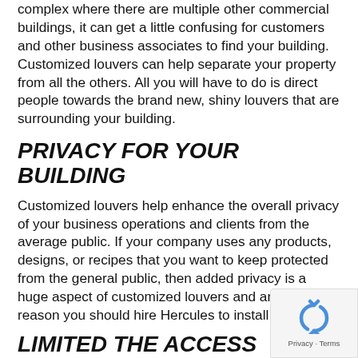complex where there are multiple other commercial buildings, it can get a little confusing for customers and other business associates to find your building. Customized louvers can help separate your property from all the others. All you will have to do is direct people towards the brand new, shiny louvers that are surrounding your building.
PRIVACY FOR YOUR BUILDING
Customized louvers help enhance the overall privacy of your business operations and clients from the average public. If your company uses any products, designs, or recipes that you want to keep protected from the general public, then added privacy is a huge aspect of customized louvers and another reason you should hire Hercules to install them!
LIMITED THE ACCESS